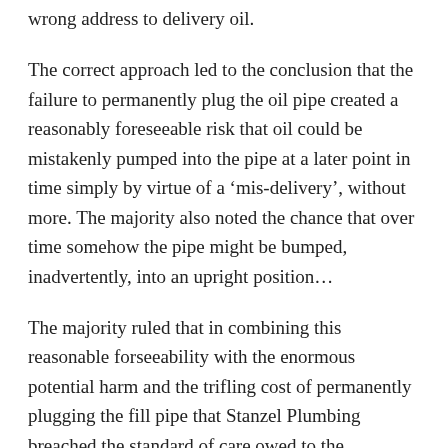wrong address to delivery oil.
The correct approach led to the conclusion that the failure to permanently plug the oil pipe created a reasonably foreseeable risk that oil could be mistakenly pumped into the pipe at a later point in time simply by virtue of a ‘mis-delivery’, without more. The majority also noted the chance that over time somehow the pipe might be bumped, inadvertently, into an upright position…
The majority ruled that in combining this reasonable forseeability with the enormous potential harm and the trifling cost of permanently plugging the fill pipe that Stanzel Plumbing breached the standard of care owed to the Bingleys. Having concluded that Stanzel Plumbing breached the standard of care owed to the Bingleys, the majority opted to defer to the findings of the trial